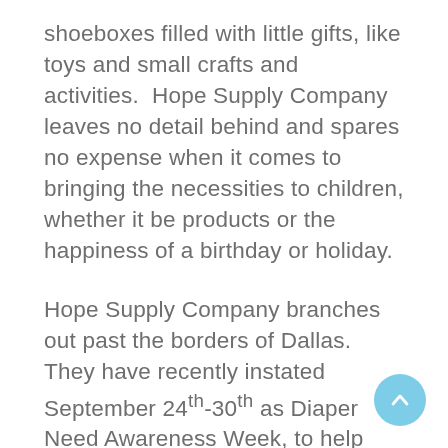shoeboxes filled with little gifts, like toys and small crafts and activities.  Hope Supply Company leaves no detail behind and spares no expense when it comes to bringing the necessities to children, whether it be products or the happiness of a birthday or holiday.
Hope Supply Company branches out past the borders of Dallas. They have recently instated September 24th-30th as Diaper Need Awareness Week, to help bring attention to the vital issue of diaper needs. They have also reached out to Target and have become a Target Red nonprofit. Hope Supply Company is continuing their